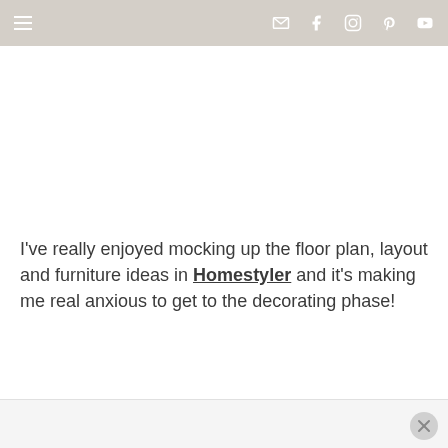≡  [mail] [facebook] [instagram] [pinterest] [youtube]
I've really enjoyed mocking up the floor plan, layout and furniture ideas in Homestyler and it's making me real anxious to get to the decorating phase!
[×]